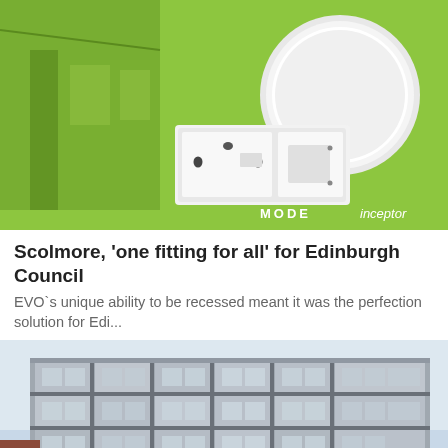[Figure (photo): Product photo on green background: electrical plug socket, switch, and a round white ceiling light/detector on a green background with room interior visible on the left. 'MODE' and 'inceptor' text visible at bottom right.]
Scolmore, 'one fitting for all' for Edinburgh Council
EVO`s unique ability to be recessed meant it was the perfection solution for Edi...
[Figure (photo): Exterior photograph of a modern multi-storey apartment building with grey facade panels and many windows, brick elements at the base, under a light sky.]